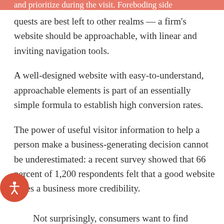and prioritize during the visit. Foreboding side quests are best left to other realms — a firm's website should be approachable, with linear and inviting navigation tools.
A well-designed website with easy-to-understand, approachable elements is part of an essentially simple formula to establish high conversion rates.
The power of useful visitor information to help a person make a business-generating decision cannot be underestimated: a recent survey showed that 66 percent of 1,200 respondents felt that a good website gives a business more credibility.
Not surprisingly, consumers want to find practical information with ease on a firm's website. While